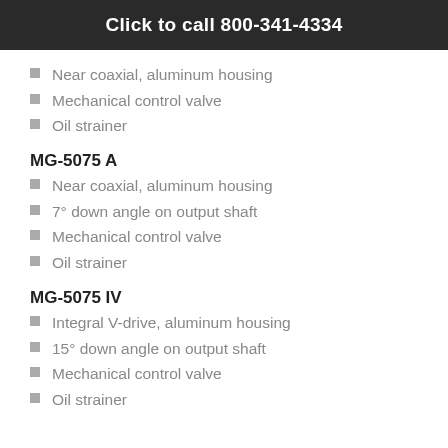Click to call 800-341-4334
Near coaxial, aluminum housing
Mechanical control valve
Oil strainer
MG-5075 A
Near coaxial, aluminum housing
7° down angle on output shaft
Mechanical control valve
Oil strainer
MG-5075 IV
Integral V-drive, aluminum housing
15° down angle on output shaft
Mechanical control valve
Oil strainer